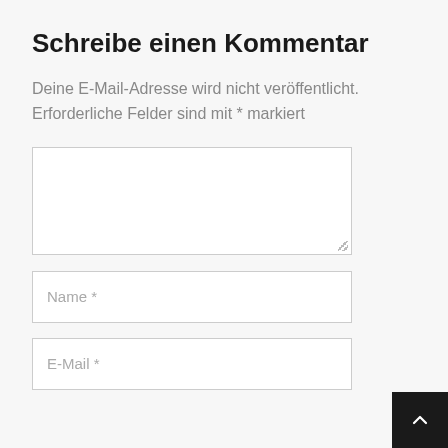Schreibe einen Kommentar
Deine E-Mail-Adresse wird nicht veröffentlicht. Erforderliche Felder sind mit * markiert
[Figure (screenshot): Comment form with a large textarea field (empty), a Name* input field, and an E-Mail* input field. A back-to-top button (dark square with upward chevron) is in the bottom-right corner.]